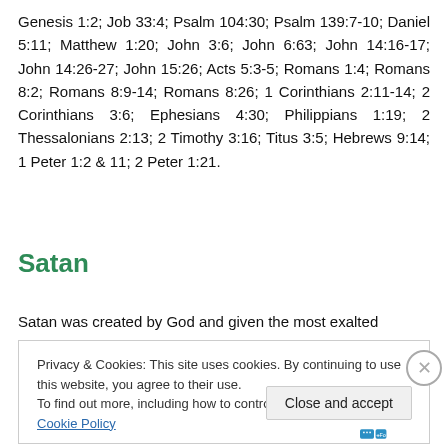Genesis 1:2; Job 33:4; Psalm 104:30; Psalm 139:7-10; Daniel 5:11; Matthew 1:20; John 3:6; John 6:63; John 14:16-17; John 14:26-27; John 15:26; Acts 5:3-5; Romans 1:4; Romans 8:2; Romans 8:9-14; Romans 8:26; 1 Corinthians 2:11-14; 2 Corinthians 3:6; Ephesians 4:30; Philippians 1:19; 2 Thessalonians 2:13; 2 Timothy 3:16; Titus 3:5; Hebrews 9:14; 1 Peter 1:2 & 11; 2 Peter 1:21.
Satan
Satan was created by God and given the most exalted
Privacy & Cookies: This site uses cookies. By continuing to use this website, you agree to their use.
To find out more, including how to control cookies, see here: Cookie Policy
Close and accept